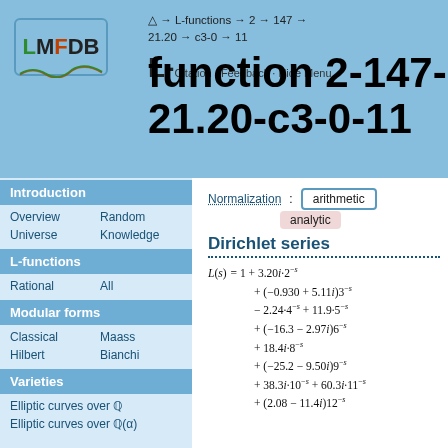[Figure (logo): LMFDB logo with colored letters and wave decoration]
△ → L-functions → 2 → 147 → 21.20 → c3-0 → 11
L- Citation · Feedback · Hide Menu
L-function 2-147-21.20-c3-0-11
Normalization: arithmetic  analytic
Dirichlet series
Introduction
Overview
Random
Universe
Knowledge
L-functions
Rational
All
Modular forms
Classical
Maass
Hilbert
Bianchi
Varieties
Elliptic curves over ℚ
Elliptic curves over ℚ(α)